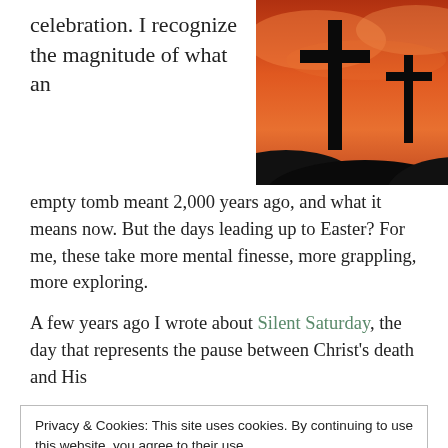celebration. I recognize the magnitude of what an
[Figure (photo): Silhouette of three crosses against a dramatic red and orange sunset sky]
empty tomb meant 2,000 years ago, and what it means now. But the days leading up to Easter? For me, these take more mental finesse, more grappling, more exploring.
A few years ago I wrote about Silent Saturday, the day that represents the pause between Christ's death and His
Privacy & Cookies: This site uses cookies. By continuing to use this website, you agree to their use.
To find out more, including how to control cookies, see here: Cookie Policy
Close and accept
Saturday...